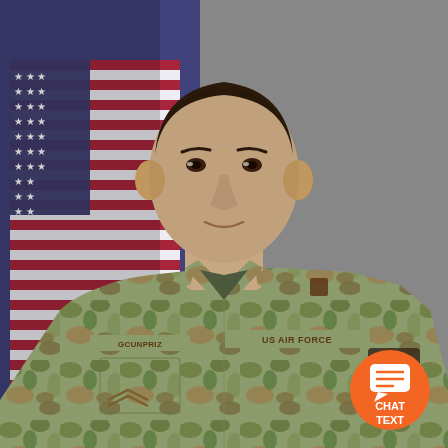[Figure (photo): Official military portrait of a young US Air Force airman wearing OCP (Operational Camouflage Pattern) uniform with 'US AIR FORCE' tape on chest and a name tape on left chest. Rank insignia of Airman First Class visible on left sleeve. A US Air Force wing patch is on the right sleeve. The American flag is visible in the background to the left. The background to the right is grey. The airman is looking directly at the camera with a slight smile.]
[Figure (other): Orange circular chat badge in the bottom-right corner with a chat bubble icon and the text 'CHAT TEXT' in white bold letters.]